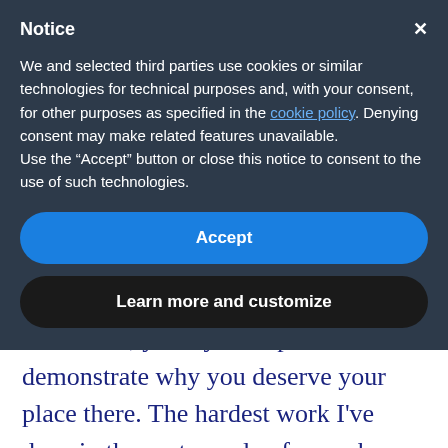Notice
We and selected third parties use cookies or similar technologies for technical purposes and, with your consent, for other purposes as specified in the cookie policy. Denying consent may make related features unavailable.
Use the “Accept” button or close this notice to consent to the use of such technologies.
Accept
Learn more and customize
newcomer, you try to impress and demonstrate why you deserve your place there. The hardest work I’ve done in the past couple of years has been making people comfortable and letting them be who they